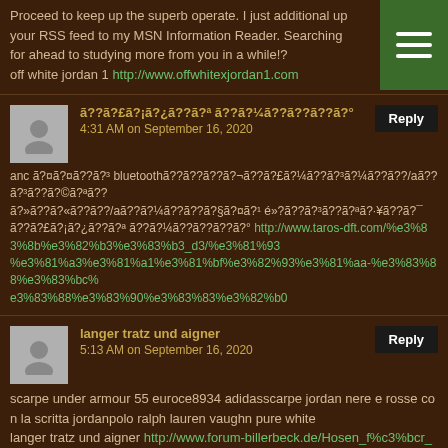Proceed to keep up the superb operate. I just additional up your RSS feed to my MSN Information Reader. Searching for ahead to studying more from you in a while!?
off white jordan 1 http://www.offwhitexjordan1.com
ã??ã?£ã?¡ã?¿ã??ã?ª ã??ã?¼ã??ã??ã??ã?°
4:31 AM on September 16, 2020
anc ã?¤ã?¤ã??ã?³ bluetoothã??ã??ã??ã?¬ã??ã?£ã?¼ã??ã?³ã?¼ã??ã??/aã??ã?³ã??ã?©ã?ªã??
ã?»ã??ã?«ã??ã??/aã??ã?¼ã??ã??ã?§ã?¤ã?¹ é»?ã??ã?³ã??ã?ªã?·¥ã??ã?¯
ã??ã?£ã?¡ã?¿ã??ã?ª ã??ã?¼ã??ã??ã??ã?° http://www.taros-dft.com/%e3%83%8b%e3%82%b3%e3%83%b3_d3/%e3%81%93%e3%81%a3%e3%81%a1%e3%81%bf%e3%82%93%e3%81%aa-%e3%83%88%e3%83%bc%e3%83%88%e3%83%90%e3%83%83%e3%82%b0
langer tratz und aigner
5:13 AM on September 16, 2020
scarpe under armour 55 euroce8934 adidasscarpe jordan nere e rosse con la scritta jordanpolo ralph lauren vaughn pure white
langer tratz und aigner http://www.forum-billerbeck.de/Hosen_f%c3%bcr_Baby_M%c3%a4dchen/langer-tratz-und-aigner
polo bedroom slippers